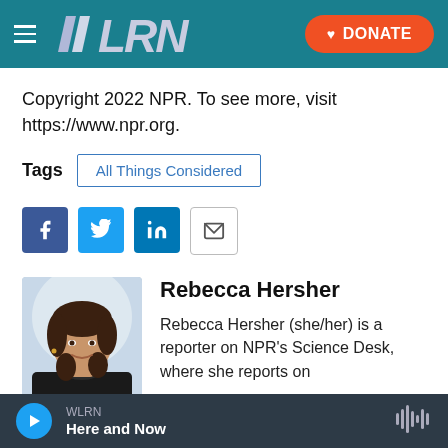WLRN | DONATE
Copyright 2022 NPR. To see more, visit https://www.npr.org.
Tags  All Things Considered
[Figure (infographic): Social sharing icons: Facebook, Twitter, LinkedIn, Email]
[Figure (photo): Headshot of Rebecca Hersher]
Rebecca Hersher
Rebecca Hersher (she/her) is a reporter on NPR's Science Desk, where she reports on
WLRN | Here and Now